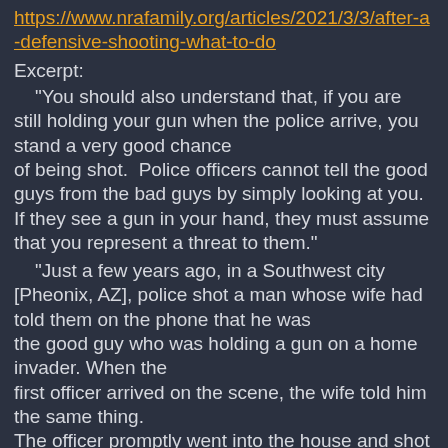https://www.nrafamily.org/articles/2021/3/3/after-a-defensive-shooting-what-to-do
Excerpt:
"You should also understand that, if you are still holding your gun when the police arrive, you stand a very good chance of being shot.  Police officers cannot tell the good guys from the bad guys by simply looking at you.  If they see a gun in your hand, they must assume that you represent a threat to them."
"Just a few years ago, in a Southwest city [Pheonix, AZ], police shot a man whose wife had told them on the phone that he was the good guy who was holding a gun on a home invader. When the first officer arrived on the scene, the wife told him the same thing. The officer promptly went into the house and shot her husband nine times.  Police officers can be stressed and confused, too." [They can also be grossly incompetent due to lack of training and lack